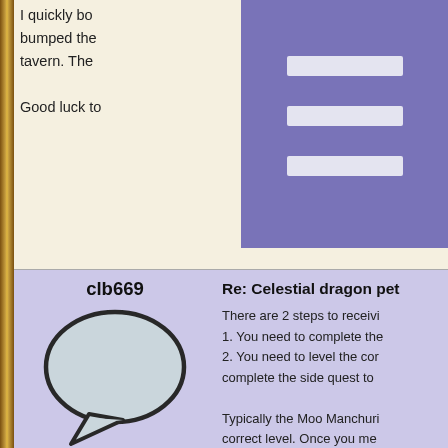I quickly bo... bumped the... tavern. The...
Good luck to...
clb669
[Figure (illustration): Speech bubble avatar icon]
Rank: Ensign
Joined: Mar 30, 2011
Posts: 22
Re: Celestial dragon pet
There are 2 steps to receivi...
1. You need to complete the...
2. You need to level the cor... complete the side quest to ...
Typically the Moo Manchuri... correct level. Once you mee... should receive the Dragon f...
PHILOSOPHER726
Re: Celestial dragon pet
That is great "KingKsb" and...